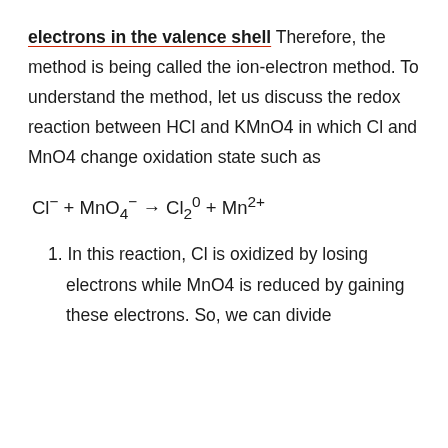electrons in the valence shell Therefore, the method is being called the ion-electron method. To understand the method, let us discuss the redox reaction between HCl and KMnO4 in which Cl and MnO4 change oxidation state such as
1. In this reaction, Cl is oxidized by losing electrons while MnO4 is reduced by gaining these electrons. So, we can divide